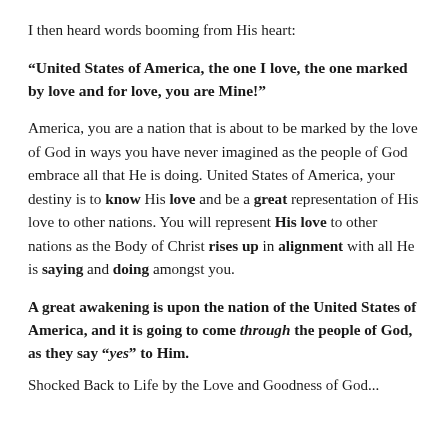I then heard words booming from His heart:
“United States of America, the one I love, the one marked by love and for love, you are Mine!”
America, you are a nation that is about to be marked by the love of God in ways you have never imagined as the people of God embrace all that He is doing. United States of America, your destiny is to know His love and be a great representation of His love to other nations. You will represent His love to other nations as the Body of Christ rises up in alignment with all He is saying and doing amongst you.
A great awakening is upon the nation of the United States of America, and it is going to come through the people of God, as they say “yes” to Him.
Shocked Back to Life by the Love and Goodness of God...